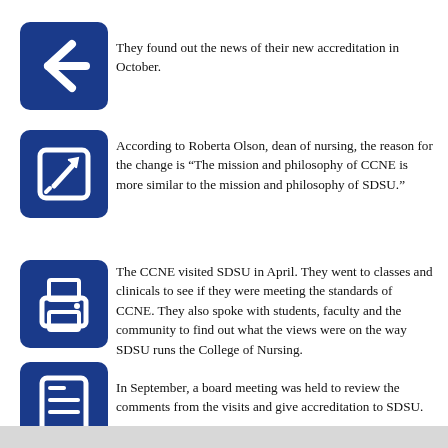They found out the news of their new accreditation in October.
According to Roberta Olson, dean of nursing, the reason for the change is "The mission and philosophy of CCNE is more similar to the mission and philosophy of SDSU."
The CCNE visited SDSU in April. They went to classes and clinicals to see if they were meeting the standards of CCNE. They also spoke with students, faculty and the community to find out what the views were on the way SDSU runs the College of Nursing.
In September, a board meeting was held to review the comments from the visits and give accreditation to SDSU.
The students of the College of Nursing will not see a difference in teaching methods or in clinicals. The only difference is the bureau in which the College of Nursing is accredited by.
The College of Nursing will be accredited through the year 2011. At that point there will be new site visits and reaccreditation process.